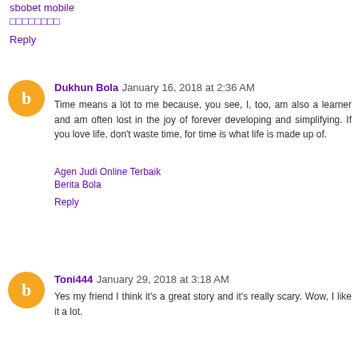sbobet mobile
□□□□□□□□
Reply
Dukhun Bola January 16, 2018 at 2:36 AM
Time means a lot to me because, you see, I, too, am also a learner and am often lost in the joy of forever developing and simplifying. If you love life, don't waste time, for time is what life is made up of.
Agen Judi Online Terbaik
Berita Bola
Reply
Toni444 January 29, 2018 at 3:18 AM
Yes my friend I think it's a great story and it's really scary. Wow, I like it a lot.